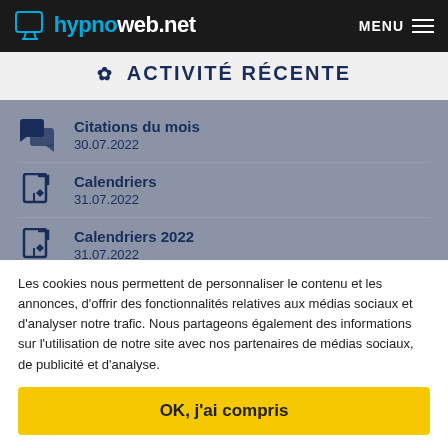hypnoweb.net — MENU
✿ ACTIVITÉ RÉCENTE
Citations du mois
30.07.2022
Calendriers
31.07.2022
Calendriers 2022
31.07.2022
Citations du mois
30.07.2022
Les cookies nous permettent de personnaliser le contenu et les annonces, d'offrir des fonctionnalités relatives aux médias sociaux et d'analyser notre trafic. Nous partageons également des informations sur l'utilisation de notre site avec nos partenaires de médias sociaux, de publicité et d'analyse.
OK, j'ai compris